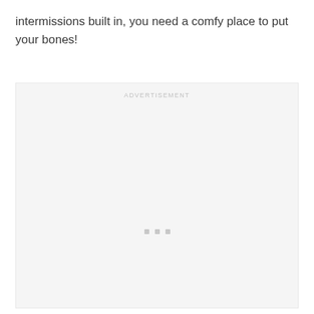intermissions built in, you need a comfy place to put your bones!
[Figure (other): Advertisement placeholder box with 'ADVERTISEMENT' label at top and three small grey squares near the bottom center]